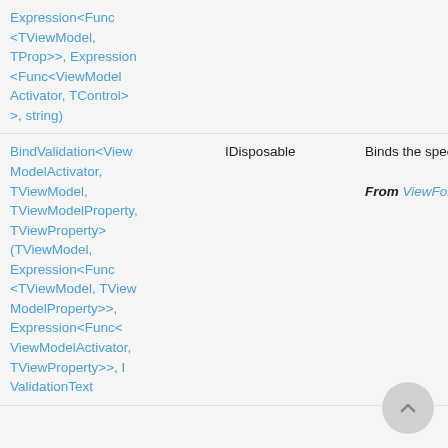| Method | Return Type | Description |
| --- | --- | --- |
| Expression<Func<TViewModel, TProp>>, Expression<Func<ViewModelActivator, TControl>>, string) | IDisposable | Binds the specifi... From ViewForExter... |
| BindValidation<ViewModelActivator, TViewModel, TViewModelProperty, TViewProperty>(TViewModel, Expression<Func<TViewModel, TViewModelProperty>>, Expression<Func<ViewModelActivator, TViewProperty>>, IValidationText |  |  |